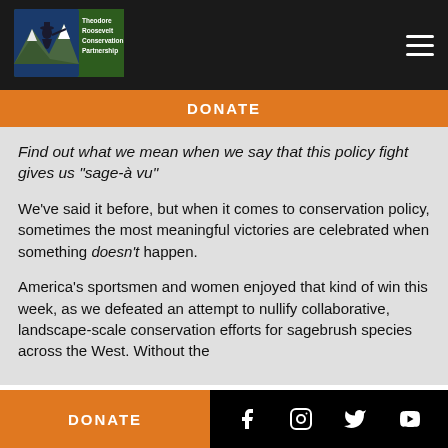[Figure (logo): Theodore Roosevelt Conservation Partnership logo with a hunter silhouette, mountains, and green/blue background]
DONATE
Find out what we mean when we say that this policy fight gives us “sage-à vu”
We’ve said it before, but when it comes to conservation policy, sometimes the most meaningful victories are celebrated when something doesn’t happen.
America’s sportsmen and women enjoyed that kind of win this week, as we defeated an attempt to nullify collaborative, landscape-scale conservation efforts for sagebrush species across the West. Without the
DONATE
Social media icons: Facebook, Instagram, Twitter, YouTube